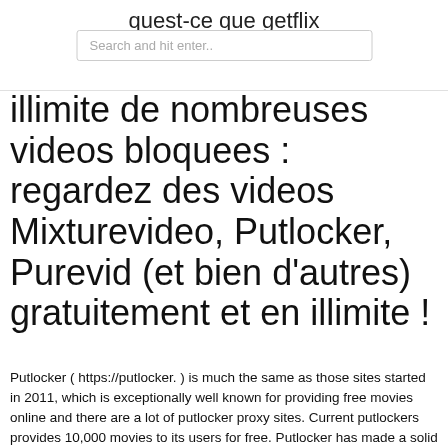quest-ce que getflix
[Figure (screenshot): Search input box with placeholder text 'Search and hit enter..']
illimite de nombreuses videos bloquees : regardez des videos Mixturevideo, Putlocker, Purevid (et bien d'autres) gratuitement et en illimite !
Putlocker ( https://putlocker. ) is much the same as those sites started in 2011, which is exceptionally well known for providing free movies online and there are a lot of putlocker proxy sites. Current putlockers provides 10,000 movies to its users for free. Putlocker has made a solid stand as a free website that provides the latest movies. It Putlockers movies | Putlocker - Watch Movies Online Free. Watch your favorite movies online free on Putlocker. http://www.putlockers-